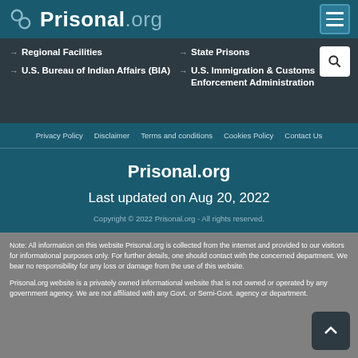Prisonal.org
Regional Facilities
U.S. Bureau of Indian Affairs (BIA)
State Prisons
U.S. Immigration & Customs Enforcement Administration
Privacy Policy   Disclaimer   Terms and conditions   Cookies Policy   Contact Us
Prisonal.org
Last updated on Aug 20, 2022
Copyright © 2022 Prisonal.org - All rights reserved.
Note: All information on this website Prisonal.org is collected from the internet and provided to our visitors for informational purposes only. For further details, one should contact with the concerned department. We bear no responsibility for any loss or damage from the use of this website.
Prisonal.org website is a privately owned informational website that is not owned or operated by any government agency. We are not affiliated with any Govt. or Semi-Govt. agency or department.